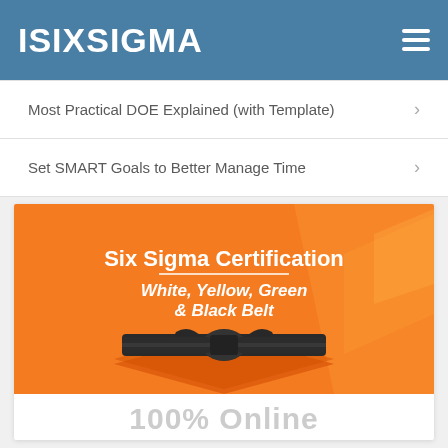ISIXSIGMA
Most Practical DOE Explained (with Template)
Set SMART Goals to Better Manage Time
[Figure (illustration): Six Sigma Certification banner showing White, Yellow, Green & Black Belt text over orange background with a black belt image]
100% Online